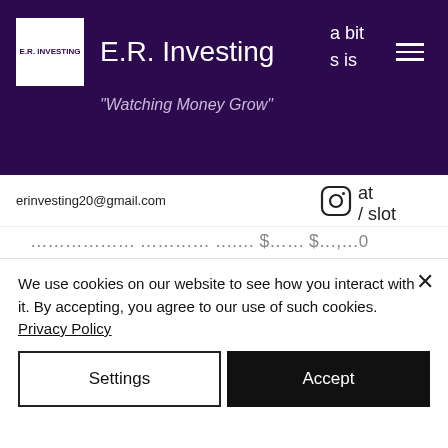E.R. Investing — "Watching Money Grow"
erinvesting20@gmail.com
...however, baseball has $10 to $1,500 limits while the roulette game has $5 to $300 limits. If you want to be in the game for longer time, then consider single playlines. Can I withdraw a bonus as real cash, casino coin stock. This is one of the most popular offers and you will also see that the amount of money that you can
We use cookies on our website to see how you interact with it. By accepting, you agree to our use of such cookies. Privacy Policy
Settings
Accept